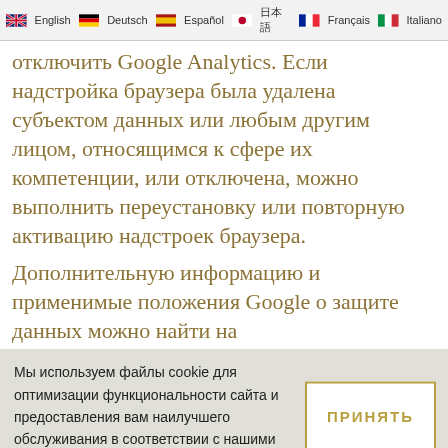English  Deutsch  Español  日本語  Français  Italiano
отключить Google Analytics. Если надстройка браузера была удалена субъектом данных или любым другим лицом, относящимся к сфере их компетенции, или отключена, можно выполнить переустановку или повторную активацию надстроек браузера.
Дополнительную информацию и применимые положения Google о защите данных можно найти на
Мы используем файлы cookie для оптимизации функциональности сайта и предоставления вам наилучшего обслуживания в соответствии с нашими политика
ПРИНЯТЬ
Нажмите, чтобы позвонить нам сейчас